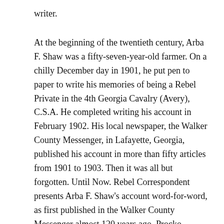writer.
At the beginning of the twentieth century, Arba F. Shaw was a fifty-seven-year-old farmer. On a chilly December day in 1901, he put pen to paper to write his memories of being a Rebel Private in the 4th Georgia Cavalry (Avery), C.S.A. He completed writing his account in February 1902. His local newspaper, the Walker County Messenger, in Lafayette, Georgia, published his account in more than fifty articles from 1901 to 1903. Then it was all but forgotten. Until Now. Rebel Correspondent presents Arba F. Shaw's account word-for-word, as first published in the Walker County Messenger almost 120 years ago. Procko annotates Shaw's account with in-depth research, verifying it and uncovering the back story of his life and the lives of his Rebel comrades. Procko's research offers a historical perspective on the many places and events Shaw so richly described.